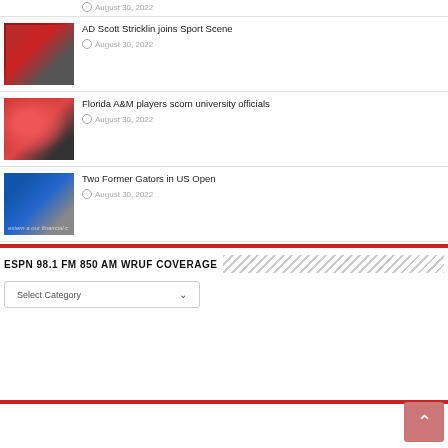[Figure (photo): Thumbnail photo of people in orange jerseys]
August 30, 2022
[Figure (photo): Man in suit gesturing, basketball text in background]
AD Scott Stricklin joins Sport Scene
August 30, 2022
[Figure (photo): Red football helmet]
Florida A&M players scorn university officials
August 30, 2022
[Figure (photo): Tennis player in blue hitting ball]
Two Former Gators in US Open
August 30, 2022
ESPN 98.1 FM 850 AM WRUF COVERAGE
Select Category